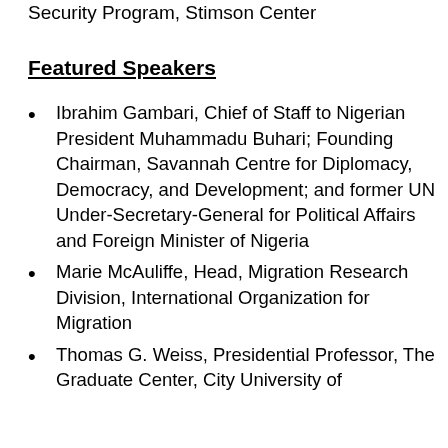Security Program, Stimson Center
Featured Speakers
Ibrahim Gambari, Chief of Staff to Nigerian President Muhammadu Buhari; Founding Chairman, Savannah Centre for Diplomacy, Democracy, and Development; and former UN Under-Secretary-General for Political Affairs and Foreign Minister of Nigeria
Marie McAuliffe, Head, Migration Research Division, International Organization for Migration
Thomas G. Weiss, Presidential Professor, The Graduate Center, City University of